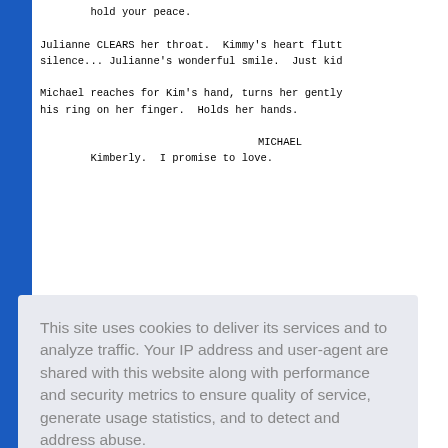hold your peace.

Julianne CLEARS her throat.  Kimmy's heart flutt
silence... Julianne's wonderful smile.  Just kid

Michael reaches for Kim's hand, turns her gently
his ring on her finger.  Holds her hands.

                    MICHAEL
        Kimberly.  I promise to love.
This site uses cookies to deliver its services and to analyze traffic. Your IP address and user-agent are shared with this website along with performance and security metrics to ensure quality of service, generate usage statistics, and to detect and address abuse.

Learn more

Got it!
KIMMY